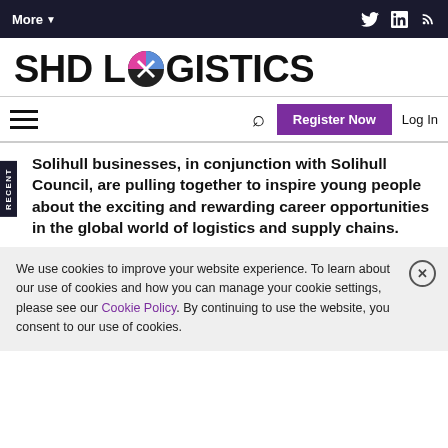More▼  [Twitter] [LinkedIn] [RSS]
[Figure (logo): SHD Logistics logo with circular icon replacing the O in LOGISTICS]
≡  🔍  Register Now  Log In
Solihull businesses, in conjunction with Solihull Council, are pulling together to inspire young people about the exciting and rewarding career opportunities in the global world of logistics and supply chains.
We use cookies to improve your website experience. To learn about our use of cookies and how you can manage your cookie settings, please see our Cookie Policy. By continuing to use the website, you consent to our use of cookies.